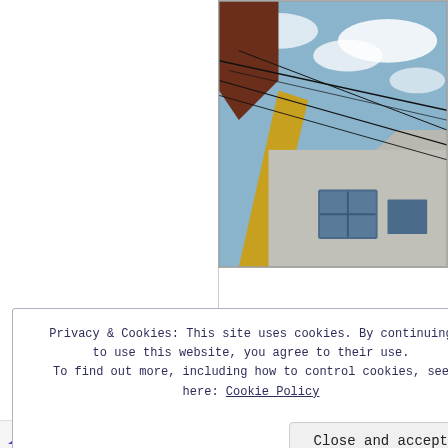[Figure (photo): Upward-angled photo of a building exterior with a yellow trim strip near the roofline, power lines crossing in front of a partly cloudy blue sky.]
Privacy & Cookies: This site uses cookies. By continuing to use this website, you agree to their use. To find out more, including how to control cookies, see here: Cookie Policy
Close and accept